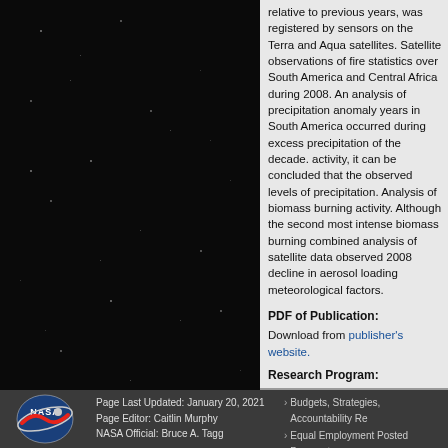relative to previous years, was registered by sensors on the Terra and Aqua satellites. Satellite observations of fire statistics over South America and Central Africa during 2008. An analysis of precipitation anomaly years in South America occurred during excess precipitation of the decade. activity, it can be concluded that the observed levels of precipitation. Analysis of biomass burning activity. Although the second most intense biomass burning combined analysis of satellite data observed 2008 decline in aerosol loading meteorological factors.
PDF of Publication:
Download from publisher's website.
Research Program:
Atmospheric Composition
Atmospheric Composition Modeling
Mission:
Aura- OMI
Page Last Updated: January 20, 2021
Page Editor: Caitlin Murphy
NASA Official: Bruce A. Tagg
› Budgets, Strategies, Accountability Re...
› Equal Employment Posted Pursuant...